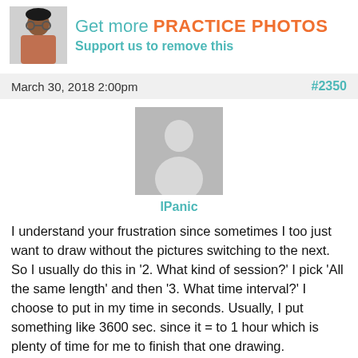[Figure (photo): Header banner with photo of person making binoculars gesture with hands, and text 'Get more PRACTICE PHOTOS / Support us to remove this']
March 30, 2018 2:00pm	#2350
[Figure (photo): Default user avatar placeholder (grey silhouette of a person)]
IPanic
I understand your frustration since sometimes I too just want to draw without the pictures switching to the next. So I usually do this in '2. What kind of session?' I pick 'All the same length' and then '3. What time interval?' I choose to put in my time in seconds. Usually, I put something like 3600 sec. since it = to 1 hour which is plenty of time for me to finish that one drawing.